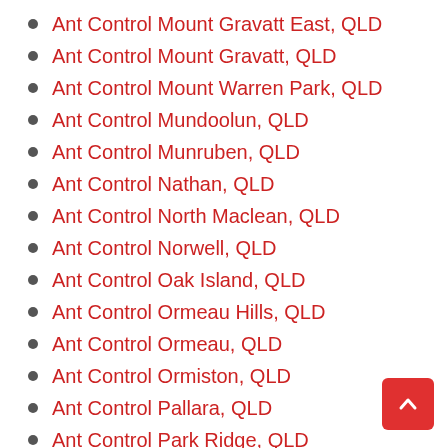Ant Control Mount Gravatt East, QLD
Ant Control Mount Gravatt, QLD
Ant Control Mount Warren Park, QLD
Ant Control Mundoolun, QLD
Ant Control Munruben, QLD
Ant Control Nathan, QLD
Ant Control North Maclean, QLD
Ant Control Norwell, QLD
Ant Control Oak Island, QLD
Ant Control Ormeau Hills, QLD
Ant Control Ormeau, QLD
Ant Control Ormiston, QLD
Ant Control Pallara, QLD
Ant Control Park Ridge, QLD
Ant Control Park Ridge South, QLD